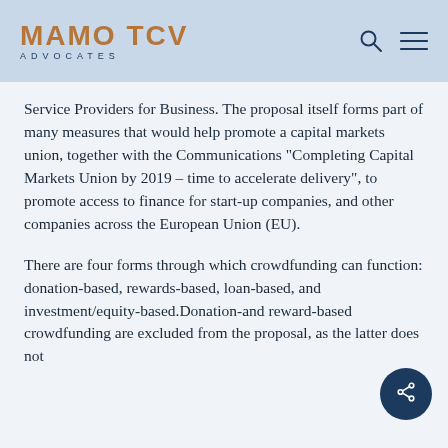MAMO TCV ADVOCATES
Service Providers for Business. The proposal itself forms part of many measures that would help promote a capital markets union, together with the Communications “Completing Capital Markets Union by 2019 – time to accelerate delivery”, to promote access to finance for start-up companies, and other companies across the European Union (EU).
There are four forms through which crowdfunding can function: donation-based, rewards-based, loan-based, and investment/equity-based.Donation-and reward-based crowdfunding are excluded from the proposal, as the latter does not